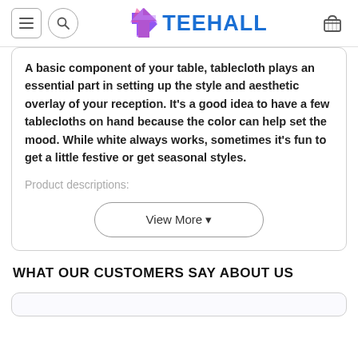TEEHALL
A basic component of your table, tablecloth plays an essential part in setting up the style and aesthetic overlay of your reception. It's a good idea to have a few tablecloths on hand because the color can help set the mood. While white always works, sometimes it's fun to get a little festive or get seasonal styles.
Product descriptions:
View More
WHAT OUR CUSTOMERS SAY ABOUT US